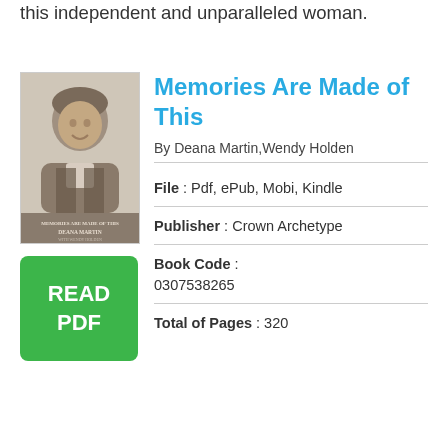this independent and unparalleled woman.
[Figure (photo): Book cover of 'Memories Are Made of This' showing a smiling man (Dean Martin) in a sepia-toned photo]
[Figure (other): Green READ PDF button]
Memories Are Made of This
By Deana Martin,Wendy Holden
File : Pdf, ePub, Mobi, Kindle
Publisher : Crown Archetype
Book Code : 0307538265
Total of Pages : 320